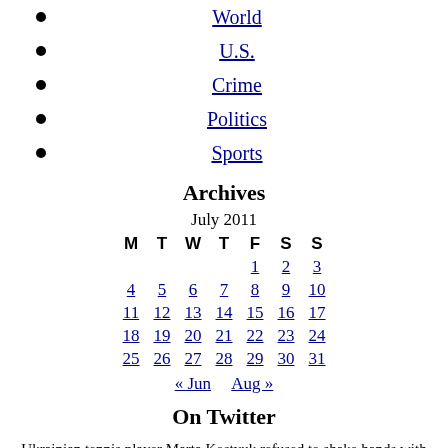World
U.S.
Crime
Politics
Sports
Archives
| M | T | W | T | F | S | S |
| --- | --- | --- | --- | --- | --- | --- |
|  |  |  |  | 1 | 2 | 3 |
| 4 | 5 | 6 | 7 | 8 | 9 | 10 |
| 11 | 12 | 13 | 14 | 15 | 16 | 17 |
| 18 | 19 | 20 | 21 | 22 | 23 | 24 |
| 25 | 26 | 27 | 28 | 29 | 30 | 31 |
« Jun   Aug »
On Twitter
Ukrainian tennis player Marta Kostyuk refused to shake hands with Belarusian opponent Victoria Azarenka after their◆twitter.com/i/web/status/1…N7